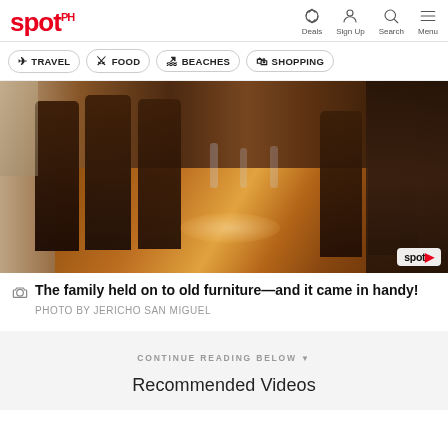spot.ph — Deals, Sign Up, Search, Menu
TRAVEL
FOOD
BEACHES
SHOPPING
[Figure (photo): Interior of a restaurant with dark wooden chairs and a long polished wooden dining table set with glasses and napkins, with dark wood cabinets in the background. Spot.ph watermark in bottom right corner.]
The family held on to old furniture—and it came in handy! PHOTO BY JERICHO SAN MIGUEL
CONTINUE READING BELOW
Recommended Videos